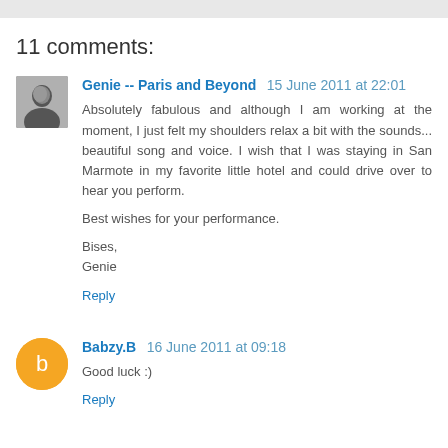11 comments:
Genie -- Paris and Beyond  15 June 2011 at 22:01
Absolutely fabulous and although I am working at the moment, I just felt my shoulders relax a bit with the sounds... beautiful song and voice. I wish that I was staying in San Marmote in my favorite little hotel and could drive over to hear you perform.

Best wishes for your performance.

Bises,
Genie

Reply
Babzy.B  16 June 2011 at 09:18
Good luck :)
Reply